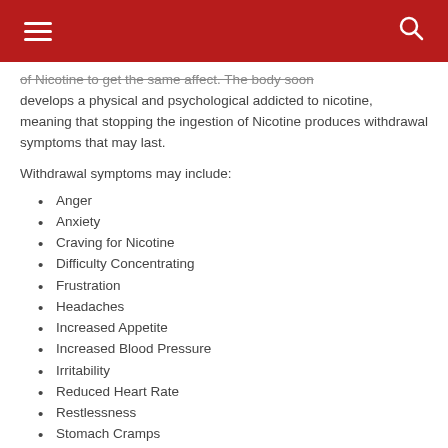of Nicotine to get the same affect. The body soon develops a physical and psychological addicted to nicotine,
meaning that stopping the ingestion of Nicotine produces withdrawal symptoms that may last.
Withdrawal symptoms may include:
Anger
Anxiety
Craving for Nicotine
Difficulty Concentrating
Frustration
Headaches
Increased Appetite
Increased Blood Pressure
Irritability
Reduced Heart Rate
Restlessness
Stomach Cramps
Smoking Affects on Nutrition – Smoking introduces